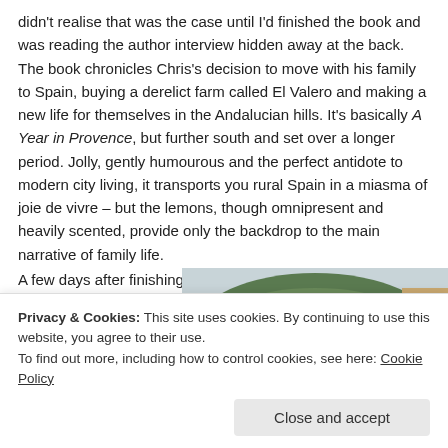didn't realise that was the case until I'd finished the book and was reading the author interview hidden away at the back. The book chronicles Chris's decision to move with his family to Spain, buying a derelict farm called El Valero and making a new life for themselves in the Andalucian hills. It's basically A Year in Provence, but further south and set over a longer period. Jolly, gently humourous and the perfect antidote to modern city living, it transports you rural Spain in a miasma of joie de vivre – but the lemons, though omnipresent and heavily scented, provide only the backdrop to the main narrative of family life.
A few days after finishing Driving over Lemons and feeling fully recovered,
[Figure (photo): Photograph of a Spanish town scene with colourful buildings in foreground (orange/yellow wall, pink building) and a green hill in the background under a light sky.]
and starting a
Privacy & Cookies: This site uses cookies. By continuing to use this website, you agree to their use.
To find out more, including how to control cookies, see here: Cookie Policy